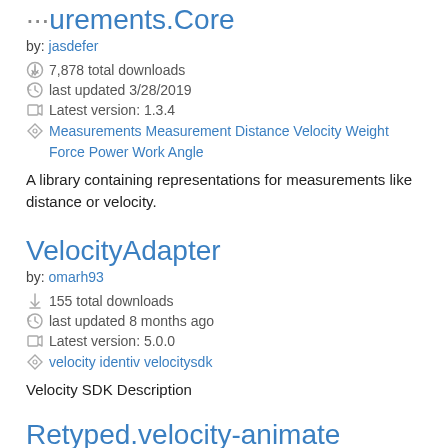Measurements.Core
by: jasdefer
↓ 7,878 total downloads
last updated 3/28/2019
Latest version: 1.3.4
Measurements Measurement Distance Velocity Weight Force Power Work Angle
A library containing representations for measurements like distance or velocity.
VelocityAdapter
by: omarh93
↓ 155 total downloads
last updated 8 months ago
Latest version: 5.0.0
velocity identiv velocitysdk
Velocity SDK Description
Retyped.velocity-animate